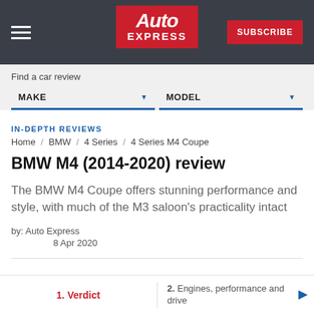Auto Express | SUBSCRIBE
Find a car review
MAKE   MODEL
IN-DEPTH REVIEWS
Home / BMW / 4 Series / 4 Series M4 Coupe
BMW M4 (2014-2020) review
The BMW M4 Coupe offers stunning performance and style, with much of the M3 saloon's practicality intact
by: Auto Express
8 Apr 2020
1. Verdict
2. Engines, performance and drive